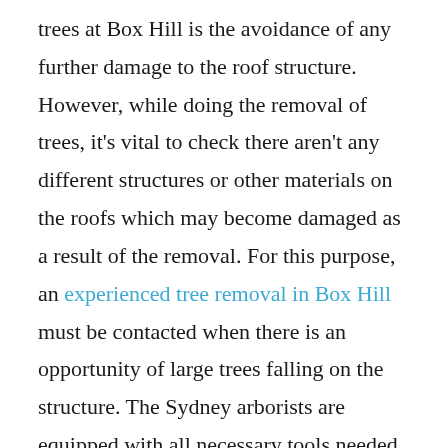trees at Box Hill is the avoidance of any further damage to the roof structure. However, while doing the removal of trees, it's vital to check there aren't any different structures or other materials on the roofs which may become damaged as a result of the removal. For this purpose, an experienced tree removal in Box Hill must be contacted when there is an opportunity of large trees falling on the structure. The Sydney arborists are equipped with all necessary tools needed to take down the tree in a safe manner. Protection of workers around the tree is the first